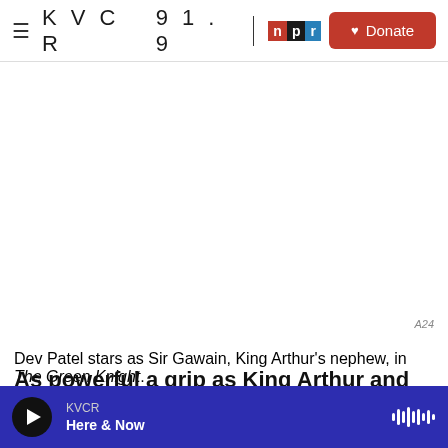KVCR 91.9 NPR | Donate
[Figure (photo): Blank/white image area representing a film still from The Green Knight, with A24 watermark label in bottom right corner]
Dev Patel stars as Sir Gawain, King Arthur's nephew, in The Green Knight.
As powerful a grip as King Arthur and his Knights of
KVCR | Here & Now (audio player bar)